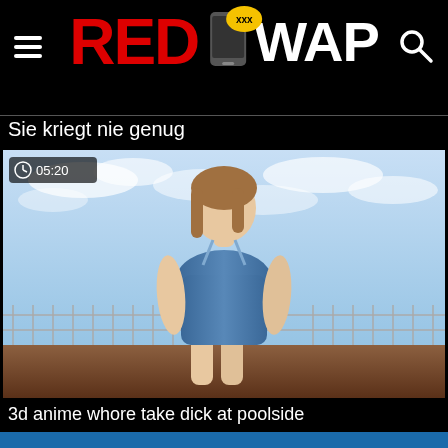RED XXX WAP
Sie kriegt nie genug
[Figure (screenshot): 3D animated anime-style female character in blue swimsuit standing at poolside with ocean background. Duration badge shows 05:20. Watermark reads HENTAICUTIES.NET]
3d anime whore take dick at poolside